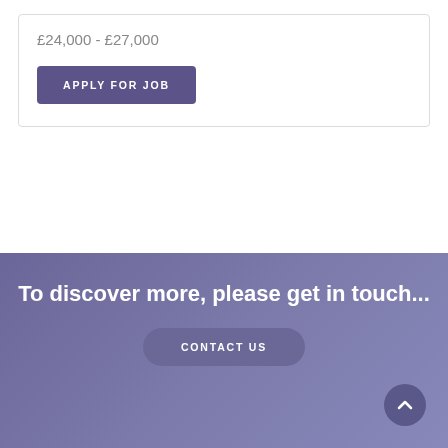£24,000 - £27,000
APPLY FOR JOB
To discover more, please get in touch...
CONTACT US